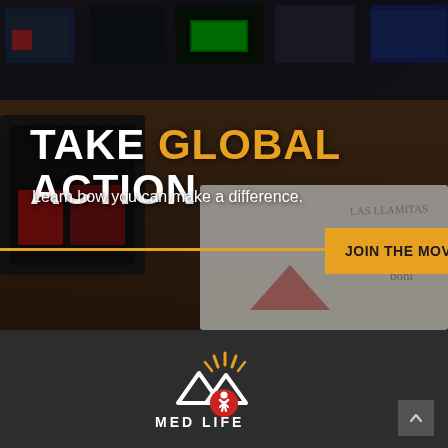[Figure (photo): Background photo of a classroom/education setting with colorful bins, tablets, and children's learning materials on a dark desk. Semi-transparent dark overlay applied over the image.]
TAKE GLOBAL ACTION
Learn how you can make a difference.
JOIN THE MOVEMENT
[Figure (logo): MedLife logo: mountain peaks icon with golden rays above and a red circle with white figure below, white text MED LIFE below]